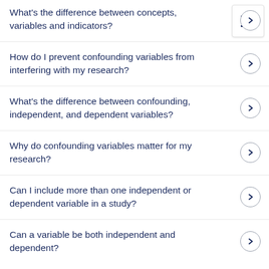What's the difference between concepts, variables and indicators?
How do I prevent confounding variables from interfering with my research?
What's the difference between confounding, independent, and dependent variables?
Why do confounding variables matter for my research?
Can I include more than one independent or dependent variable in a study?
Can a variable be both independent and dependent?